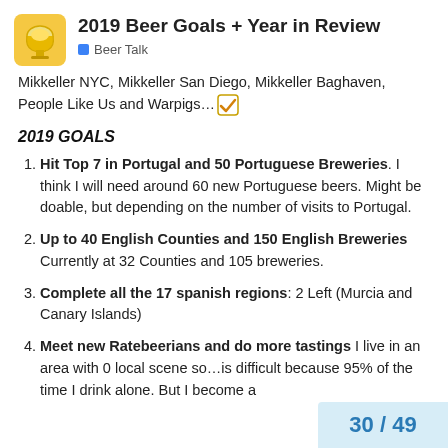2019 Beer Goals + Year in Review
Beer Talk
Mikkeller NYC, Mikkeller San Diego, Mikkeller Baghaven, People Like Us and Warpigs… ✓
2019 GOALS
Hit Top 7 in Portugal and 50 Portuguese Breweries. I think I will need around 60 new Portuguese beers. Might be doable, but depending on the number of visits to Portugal.
Up to 40 English Counties and 150 English Breweries Currently at 32 Counties and 105 breweries.
Complete all the 17 spanish regions: 2 Left (Murcia and Canary Islands)
Meet new Ratebeerians and do more tastings I live in an area with 0 local scene so…is difficult because 95% of the time I drink alone. But I become a
30 / 49